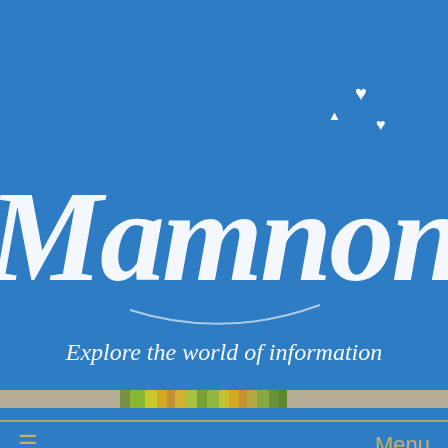[Figure (logo): Mamnon website logo with script lettering on blue background, tagline 'Explore the world of information', with decorative hearts and navigation bar showing hamburger menu and Menu label]
[Figure (photo): Partial image strip showing colorful nature/landscape photo in the center with grey/neutral tones on either side]